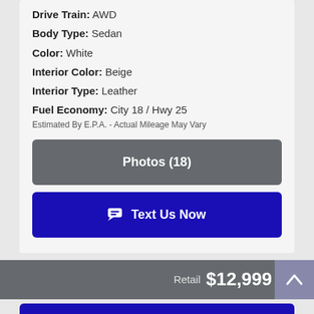Drive Train: AWD
Body Type: Sedan
Color: White
Interior Color: Beige
Interior Type: Leather
Fuel Economy: City 18 / Hwy 25
Estimated By E.P.A. - Actual Mileage May Vary
Photos (18)
Text Us Now
Retail $12,999
Text Us